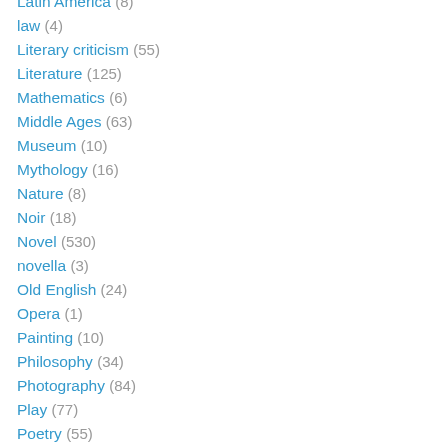Latin America (8)
law (4)
Literary criticism (55)
Literature (125)
Mathematics (6)
Middle Ages (63)
Museum (10)
Mythology (16)
Nature (8)
Noir (18)
Novel (530)
novella (3)
Old English (24)
Opera (1)
Painting (10)
Philosophy (34)
Photography (84)
Play (77)
Poetry (55)
Politics (85)